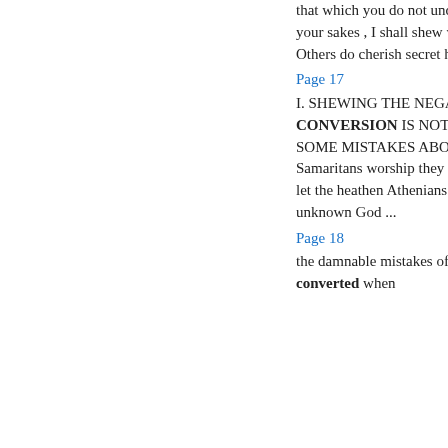that which you do not understand ; and therefore for your sakes , I shall shew what this conversion is . Others do cherish secret hopes of mercy ...
Page 17
I. SHEWING THE NEGATIVE , WHAT CONVERSION IS NOT , AND CORRECTING SOME MISTAKES ABOUT IT . LET the blind Samaritans worship they know not what , John iv . 22 , let the heathen Athenians superscribe their altar unto the unknown God ...
Page 18
the damnable mistakes of some , who think they are converted when